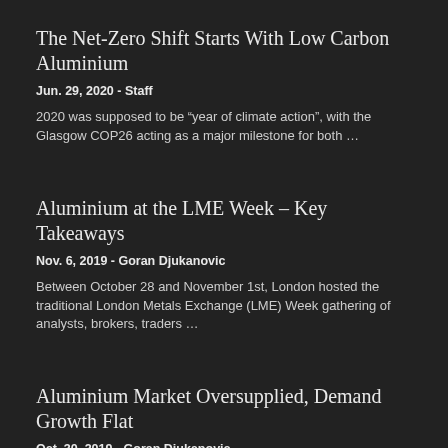The Net-Zero Shift Starts With Low Carbon Aluminium
Jun. 29, 2020 - Staff
2020 was supposed to be “year of climate action”, with the Glasgow COP26 acting as a major milestone for both …
Aluminium at the LME Week – Key Takeaways
Nov. 6, 2019 - Goran Djukanovic
Between October 28 and November 1st, London hosted the traditional London Metals Exchange (LME) Week gathering of analysts, brokers, traders …
Aluminium Market Oversupplied, Demand Growth Flat
Oct. 30, 2019 - Goran Djukanovic